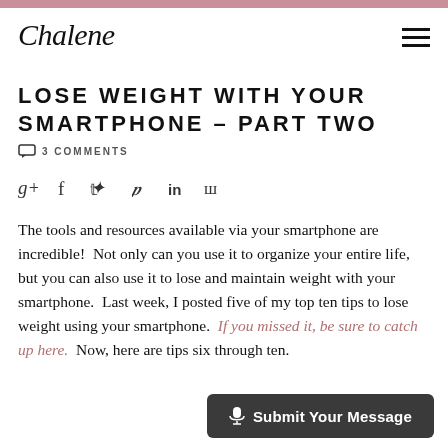Chalene
LOSE WEIGHT WITH YOUR SMARTPHONE – PART TWO
3 COMMENTS
[Figure (other): Social sharing icons: Google+, Facebook, Twitter, Pinterest, LinkedIn, StumbleUpon]
The tools and resources available via your smartphone are incredible!  Not only can you use it to organize your entire life, but you can also use it to lose and maintain weight with your smartphone.  Last week, I posted five of my top ten tips to lose weight using your smartphone.  If you missed it, be sure to catch up here.  Now, here are tips six through ten.